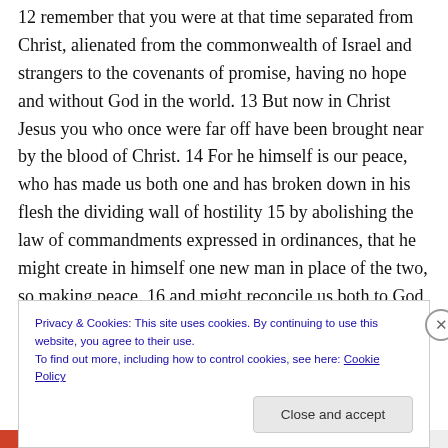12 remember that you were at that time separated from Christ, alienated from the commonwealth of Israel and strangers to the covenants of promise, having no hope and without God in the world. 13 But now in Christ Jesus you who once were far off have been brought near by the blood of Christ. 14 For he himself is our peace, who has made us both one and has broken down in his flesh the dividing wall of hostility 15 by abolishing the law of commandments expressed in ordinances, that he might create in himself one new man in place of the two, so making peace, 16 and might reconcile us both to God in
Privacy & Cookies: This site uses cookies. By continuing to use this website, you agree to their use.
To find out more, including how to control cookies, see here: Cookie Policy
Close and accept